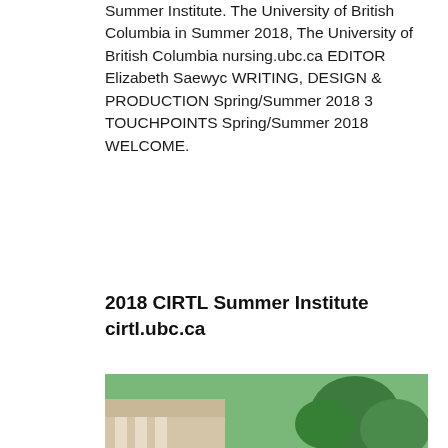Summer Institute. The University of British Columbia in Summer 2018, The University of British Columbia nursing.ubc.ca EDITOR Elizabeth Saewyc WRITING, DESIGN & PRODUCTION Spring/Summer 2018 3 TOUCHPOINTS Spring/Summer 2018 WELCOME.
2018 CIRTL Summer Institute cirtl.ubc.ca
[Figure (photo): Group photo of six women standing outdoors on a sunny day in front of a building with columns and trees. They are wearing lanyards with red name badges.]